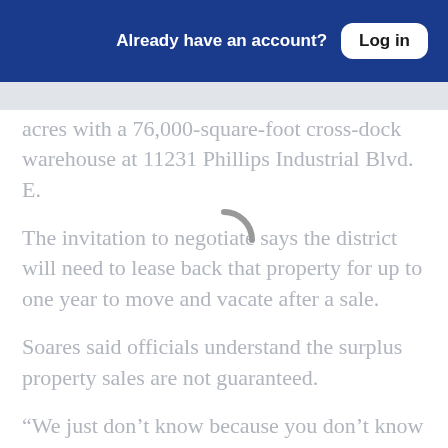Already have an account? Log in
acres with a 76,000-square-foot cross-dock warehouse at 11231 Phillips Industrial Blvd. E.
The invitation to negotiate says the district will need to lease back that property for up to one year to move and vacate after a sale.
Soares said officials understand the surplus property sales are not guaranteed.
“We just don’t know because you don’t know who may be interested,” Soares said.
“And we may not sell some of them if the offers aren’t there.”